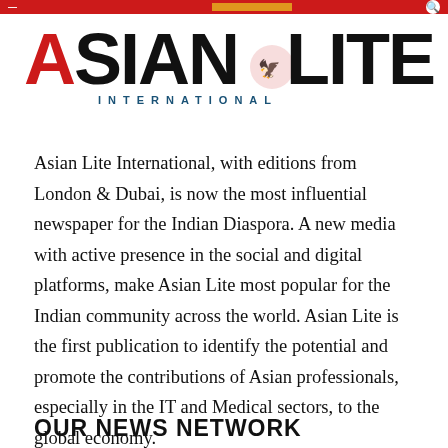Asian Lite International
[Figure (logo): Asian Lite International newspaper logo with red and black text and eagle emblem, with INTERNATIONAL subtitle in blue spaced capitals]
Asian Lite International, with editions from London & Dubai, is now the most influential newspaper for the Indian Diaspora. A new media with active presence in the social and digital platforms, make Asian Lite most popular for the Indian community across the world. Asian Lite is the first publication to identify the potential and promote the contributions of Asian professionals, especially in the IT and Medical sectors, to the global economy.
OUR NEWS NETWORK